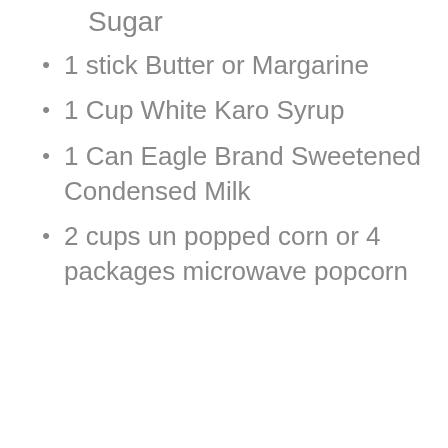Sugar
1 stick Butter or Margarine
1 Cup White Karo Syrup
1 Can Eagle Brand Sweetened Condensed Milk
2 cups un popped corn or 4 packages microwave popcorn